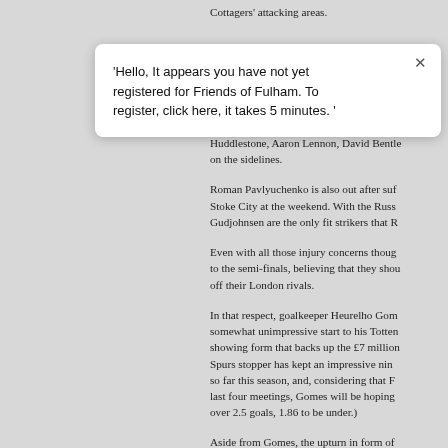Cottagers' attacking areas.
'Hello, It appears you have not yet registered for Friends of Fulham. To register, click here, it takes 5 minutes. '
Huddlestone, Aaron Lennon, David Bentley on the sidelines.
Roman Pavlyuchenko is also out after suffering at Stoke City at the weekend. With the Russian out, Gudjohnsen are the only fit strikers that R...
Even with all those injury concerns though, to the semi-finals, believing that they should off their London rivals.
In that respect, goalkeeper Heurelho Gomes somewhat unimpressive start to his Tottenham showing form that backs up the £7 million Spurs stopper has kept an impressive nine so far this season, and, considering that the last four meetings, Gomes will be hoping over 2.5 goals, 1.86 to be under.)
Aside from Gomes, the upturn in form of...